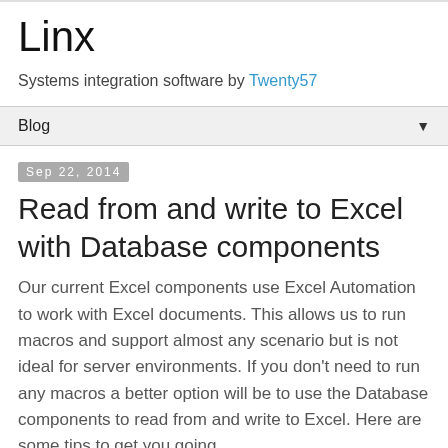Linx
Systems integration software by Twenty57
Blog
Sep 22, 2014
Read from and write to Excel with Database components
Our current Excel components use Excel Automation to work with Excel documents. This allows us to run macros and support almost any scenario but is not ideal for server environments. If you don't need to run any macros a better option will be to use the Database components to read from and write to Excel. Here are some tips to get you going.